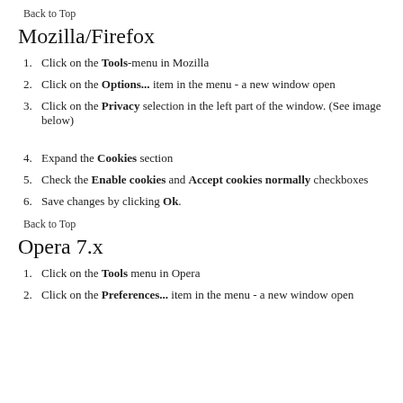Back to Top
Mozilla/Firefox
1. Click on the Tools-menu in Mozilla
2. Click on the Options... item in the menu - a new window open
3. Click on the Privacy selection in the left part of the window. (See image below)
4. Expand the Cookies section
5. Check the Enable cookies and Accept cookies normally checkboxes
6. Save changes by clicking Ok.
Back to Top
Opera 7.x
1. Click on the Tools menu in Opera
2. Click on the Preferences... item in the menu - a new window open